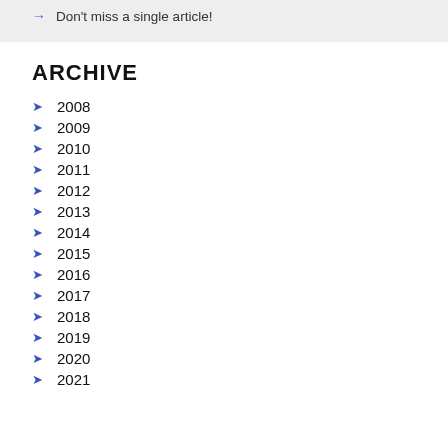Don't miss a single article!
ARCHIVE
2008
2009
2010
2011
2012
2013
2014
2015
2016
2017
2018
2019
2020
2021